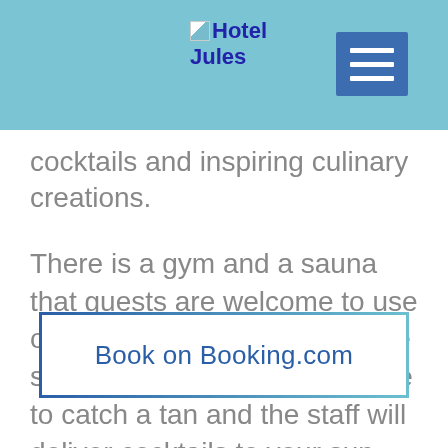Hotel Jules
cocktails and inspiring culinary creations.
There is a gym and a sauna that guests are welcome to use on a complimentary basis. The swimming pool is a great place to catch a tan and the staff will deliver cocktails to your sun lounger!
Book on Booking.com